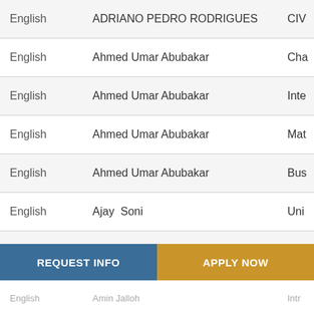| Language | Name | Course (truncated) |
| --- | --- | --- |
| English | ADRIANO PEDRO RODRIGUES | CIV... |
| English | Ahmed Umar Abubakar | Cha... |
| English | Ahmed Umar Abubakar | Inte... |
| English | Ahmed Umar Abubakar | Mat... |
| English | Ahmed Umar Abubakar | Bus... |
| English | Ajay  Soni | Uni... |
| English | Akien Alli I.Job | EIA... |
| English | Ali Al Al Sayed Hussain | Hea... |
| English | Alshanti Saed | ZAY... |
| English | Amin Jalloh | Intr... |